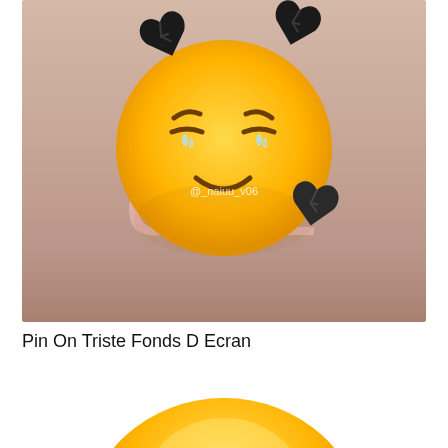[Figure (illustration): Emoji face with broken black hearts, smiling with closed eyes, tears dripping from eyes, on a pinkish-beige gradient background with the word GIRL in large pink letters. Watermark text @_naiuu_v06 visible.]
Pin On Triste Fonds D Ecran
[Figure (illustration): Partial view of a yellow emoji face, showing only the top portion (forehead and top of face), cropped at bottom of page.]